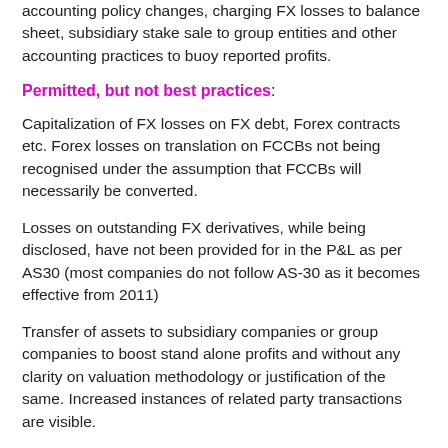accounting policy changes, charging FX losses to balance sheet, subsidiary stake sale to group entities and other accounting practices to buoy reported profits.
Permitted, but not best practices:
Capitalization of FX losses on FX debt, Forex contracts etc. Forex losses on translation on FCCBs not being recognised under the assumption that FCCBs will necessarily be converted.
Losses on outstanding FX derivatives, while being disclosed, have not been provided for in the P&L as per AS30 (most companies do not follow AS-30 as it becomes effective from 2011)
Transfer of assets to subsidiary companies or group companies to boost stand alone profits and without any clarity on valuation methodology or justification of the same. Increased instances of related party transactions are visible.
Companies adopted changes in depreciation policy and